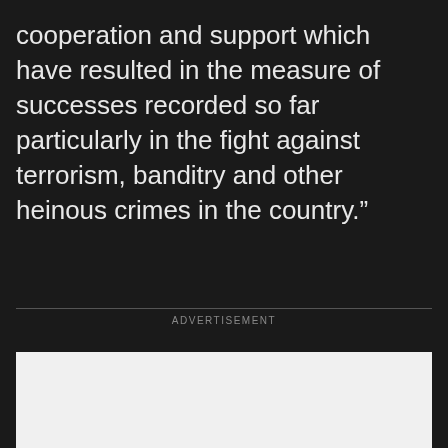cooperation and support which have resulted in the measure of successes recorded so far particularly in the fight against terrorism, banditry and other heinous crimes in the country.”
ADVERTISEMENT
[Figure (other): Empty advertisement placeholder box with light grey background]